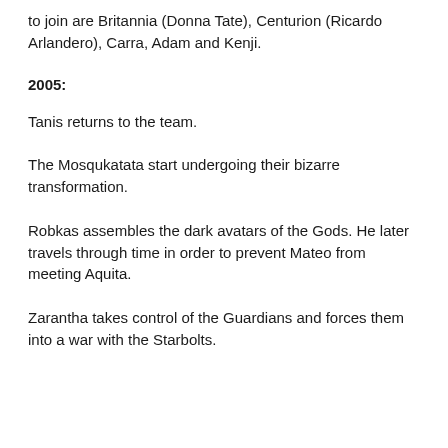to join are Britannia (Donna Tate), Centurion (Ricardo Arlandero), Carra, Adam and Kenji.
2005:
Tanis returns to the team.
The Mosqukatata start undergoing their bizarre transformation.
Robkas assembles the dark avatars of the Gods. He later travels through time in order to prevent Mateo from meeting Aquita.
Zarantha takes control of the Guardians and forces them into a war with the Starbolts.